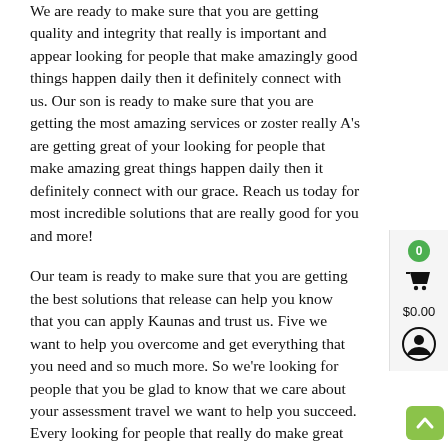We are ready to make sure that you are getting quality and integrity that really is important and appear looking for people that make amazingly good things happen daily then it definitely connect with us. Our son is ready to make sure that you are getting the most amazing services or zoster really A's are getting great of your looking for people that make amazing great things happen daily then it definitely connect with our grace. Reach us today for most incredible solutions that are really good for you and more!
Our team is ready to make sure that you are getting the best solutions that release can help you know that you can apply Kaunas and trust us. Five we want to help you overcome and get everything that you need and so much more. So we're looking for people that you be glad to know that we care about your assessment travel we want to help you succeed. Every looking for people that really do make great things happen that you would not know that we make amazing ratings happen
We want to help you get the results that you can replace way. We forgot we are ready to make sure that you are getting the most amazing services and results really is getting right and if you looking for people that really do make amazing ratings